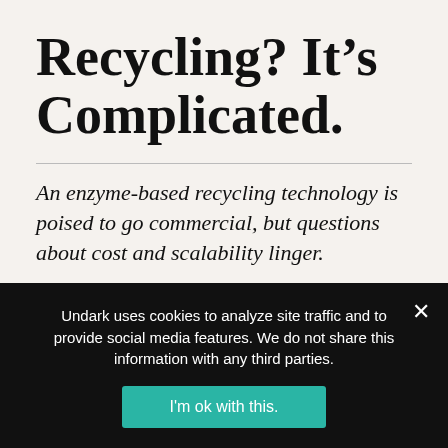Recycling? It’s Complicated.
An enzyme-based recycling technology is poised to go commercial, but questions about cost and scalability linger.
Top: A new way of recycling has grabbed the attention of some of the world’s largest consumer goods companies, including L’Oréal, Nestlé, and PepsiCo, who collaborated with startup company Carbios to produce proof-of-concept bottles. Visual: Jérôme Pallé/Carbios
Undark uses cookies to analyze site traffic and to provide social media features. We do not share this information with any third parties.